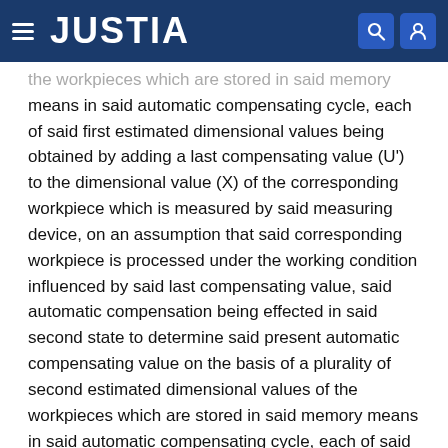JUSTIA
the workpieces which are stored in said memory means in said automatic compensating cycle, each of said first estimated dimensional values being obtained by adding a last compensating value (U') to the dimensional value (X) of the corresponding workpiece which is measured by said measuring device, on an assumption that said corresponding workpiece is processed under the working condition influenced by said last compensating value, said automatic compensation being effected in said second state to determine said present automatic compensating value on the basis of a plurality of second estimated dimensional values of the workpieces which are stored in said memory means in said automatic compensating cycle, each of said second estimated dimensional values being obtained by adding a sum of said last